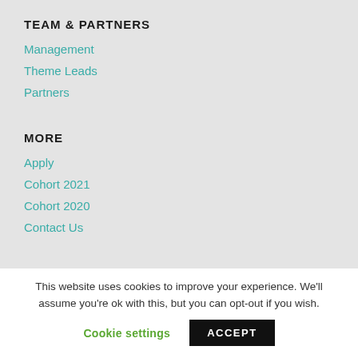TEAM & PARTNERS
Management
Theme Leads
Partners
MORE
Apply
Cohort 2021
Cohort 2020
Contact Us
This website uses cookies to improve your experience. We'll assume you're ok with this, but you can opt-out if you wish.
Cookie settings  ACCEPT